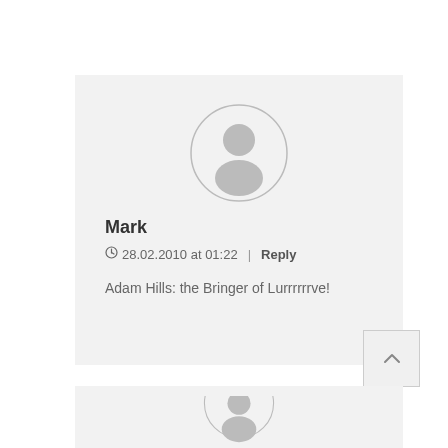[Figure (photo): Generic user avatar — grey silhouette of a person inside a circle outline]
Mark
28.02.2010 at 01:22  |  Reply
Adam Hills: the Bringer of Lurrrrrrve!
[Figure (photo): Generic user avatar — grey silhouette of a person inside a circle (partially visible, bottom of page)]